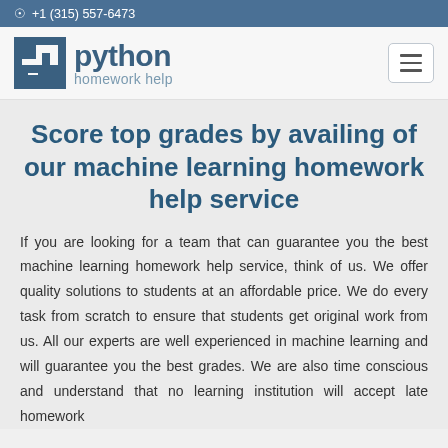+1 (315) 557-6473
[Figure (logo): Python Homework Help logo with stylized P icon and text 'python homework help']
Score top grades by availing of our machine learning homework help service
If you are looking for a team that can guarantee you the best machine learning homework help service, think of us. We offer quality solutions to students at an affordable price. We do every task from scratch to ensure that students get original work from us. All our experts are well experienced in machine learning and will guarantee you the best grades. We are also time conscious and understand that no learning institution will accept late homework